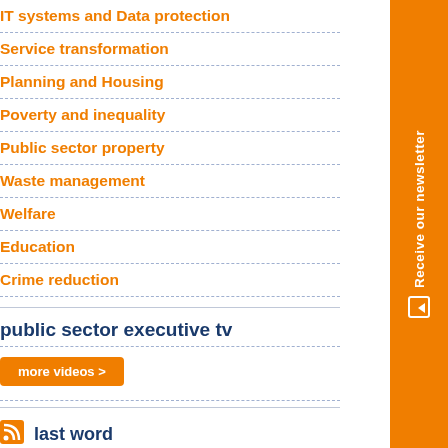IT systems and Data protection
Service transformation
Planning and Housing
Poverty and inequality
Public sector property
Waste management
Welfare
Education
Crime reduction
public sector executive tv
more videos >
last word
[Figure (photo): Photo of hands with teal circular icons/dots overlay, blurred background]